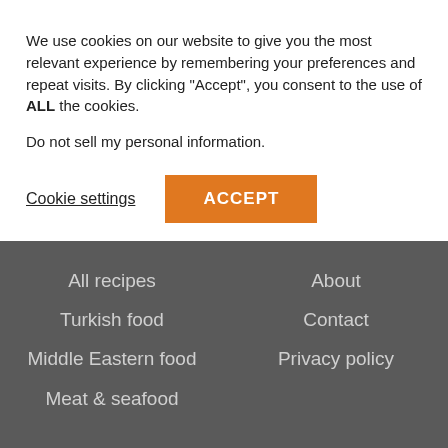We use cookies on our website to give you the most relevant experience by remembering your preferences and repeat visits. By clicking “Accept”, you consent to the use of ALL the cookies.
Do not sell my personal information.
Cookie settings
ACCEPT
All recipes
Turkish food
Middle Eastern food
Meat & seafood
About
Contact
Privacy policy
© All rights reserved
Exclusive Member of Mediavine Food